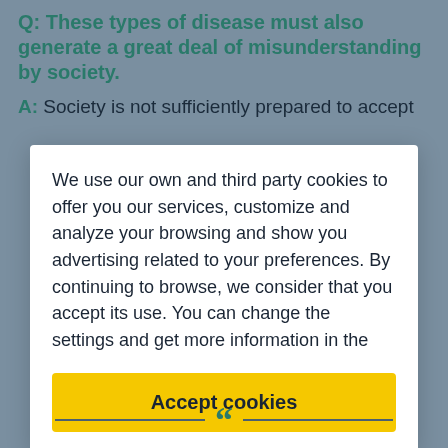Q: These types of disease must also generate a great deal of misunderstanding by society.
A: Society is not sufficiently prepared to accept
We use our own and third party cookies to offer you our services, customize and analyze your browsing and show you advertising related to your preferences. By continuing to browse, we consider that you accept its use. You can change the settings and get more information in the
Accept cookies